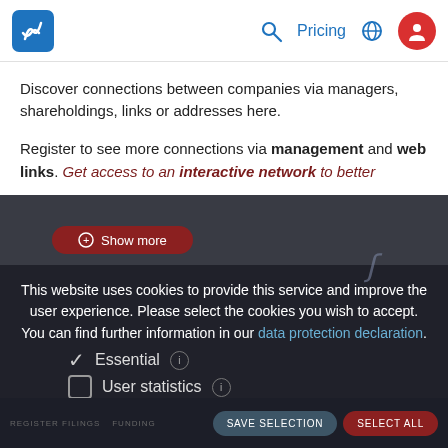Navigation bar with logo, search, Pricing, globe icon, user icon
Discover connections between companies via managers, shareholdings, links or addresses here.
Register to see more connections via management and web links. Get access to an interactive network to better
This website uses cookies to provide this service and improve the user experience. Please select the cookies you wish to accept. You can find further information in our data protection declaration.
✓ Essential (i)
☐ User statistics (i)
☐ Third Party Tracking (i)
Timeline
REGISTER FILINGS   FUNDING   SAVE SELECTION   SELECT ALL